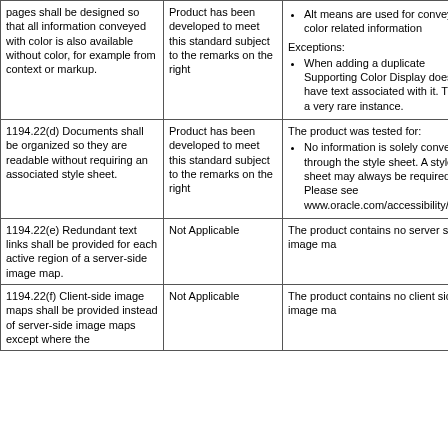| Criteria | Support Level | Remarks |
| --- | --- | --- |
| pages shall be designed so that all information conveyed with color is also available without color, for example from context or markup. | Product has been developed to meet this standard subject to the remarks on the right | Alt means are used for conveying color related information

Exceptions:
When adding a duplicate Supporting Display Color Display doesn't have text associated with it. This is a very rare instance. |
| 1194.22(d) Documents shall be organized so they are readable without requiring an associated style sheet. | Product has been developed to meet this standard subject to the remarks on the right | The product was tested for:
No information is solely conveyed through the style sheet. A style sheet may always be required. Please see www.oracle.com/accessibility/standard |
| 1194.22(e) Redundant text links shall be provided for each active region of a server-side image map. | Not Applicable | The product contains no server side image ma... |
| 1194.22(f) Client-side image maps shall be provided instead of server-side image maps except where the... | Not Applicable | The product contains no client side image ma... |